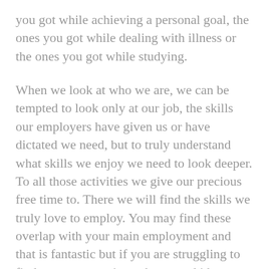you got while achieving a personal goal, the ones you got while dealing with illness or the ones you got while studying.
When we look at who we are, we can be tempted to look only at our job, the skills our employers have given us or have dictated we need, but to truly understand what skills we enjoy we need to look deeper. To all those activities we give our precious free time to. There we will find the skills we truly love to employ. You may find these overlap with your main employment and that is fantastic but if you are struggling to find your purpose it can be a good idea to look outside your day job.
So write with abandon everything you can